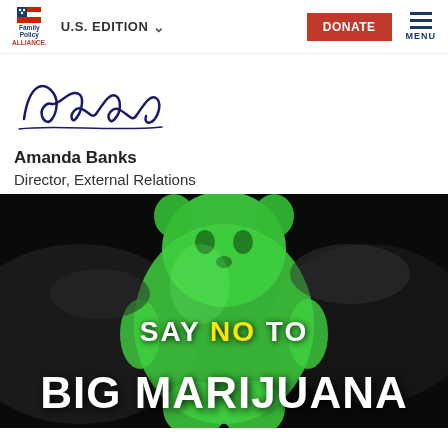Family Policy Alliance | U.S. EDITION | DONATE | MENU
[Figure (illustration): Cursive signature reading 'Amanda']
Amanda Banks
Director, External Relations
[Figure (photo): Green gummy bear figure smoking against dark background with text overlay: SAY NO TO BIG MARIJUANA]